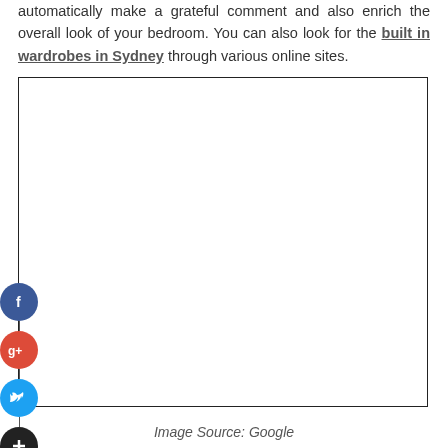automatically make a grateful comment and also enrich the overall look of your bedroom. You can also look for the built in wardrobes in Sydney through various online sites.
[Figure (other): Large empty white image box with black border, representing a placeholder image.]
Image Source: Google